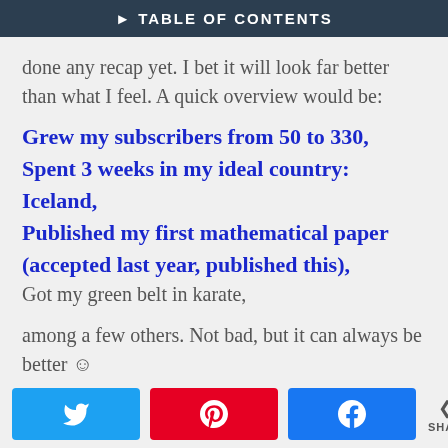▶ TABLE OF CONTENTS
done any recap yet. I bet it will look far better than what I feel. A quick overview would be:
Grew my subscribers from 50 to 330,
Spent 3 weeks in my ideal country: Iceland,
Published my first mathematical paper (accepted last year, published this),
Got my green belt in karate,
among a few others. Not bad, but it can always be better ☺